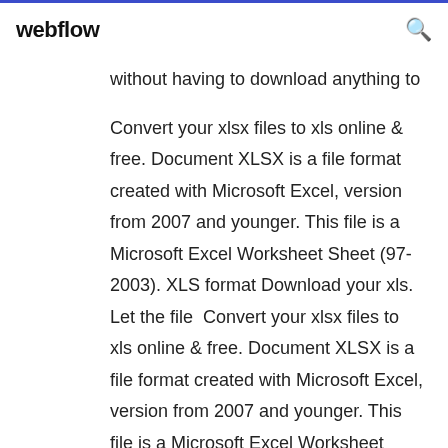webflow
without having to download anything to
Convert your xlsx files to xls online & free. Document XLSX is a file format created with Microsoft Excel, version from 2007 and younger. This file is a Microsoft Excel Worksheet Sheet (97-2003). XLS format Download your xls. Let the file  Convert your xlsx files to xls online & free. Document XLSX is a file format created with Microsoft Excel, version from 2007 and younger. This file is a Microsoft Excel Worksheet Sheet (97-2003). XLS format Download your xls. Let the file  Access to free download of the Real Statistics Resource Pack and Real Sorry but the 2003 version is frozen since Microsoft no longer